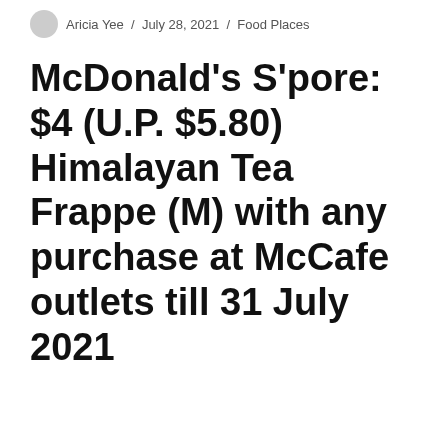Aricia Yee / July 28, 2021 / Food Places
McDonald’s S’pore: $4 (U.P. $5.80) Himalayan Tea Frappe (M) with any purchase at McCafe outlets till 31 July 2021